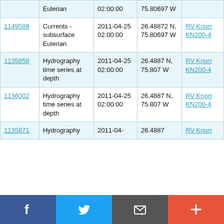| ID | Type | Date/Time | Location | Platform |
| --- | --- | --- | --- | --- |
|  | Eulerian | 02:00:00 | 75.80697 W |  |
| 1149589 | Currents - subsurface Eulerian | 2011-04-25 02:00:00 | 26.48872 N, 75.80697 W | RV Knorr KN200-4 |
| 1135858 | Hydrography time series at depth | 2011-04-25 02:00:00 | 26.4887 N, 75.807 W | RV Knorr KN200-4 |
| 1136002 | Hydrography time series at depth | 2011-04-25 02:00:00 | 26.4887 N, 75.807 W | RV Knorr KN200-4 |
| 1135871 | Hydrography | 2011-04- | 26.4887 | RV Knorr |
[Figure (other): Social sharing bar with Facebook, Twitter, email/message, and plus buttons]